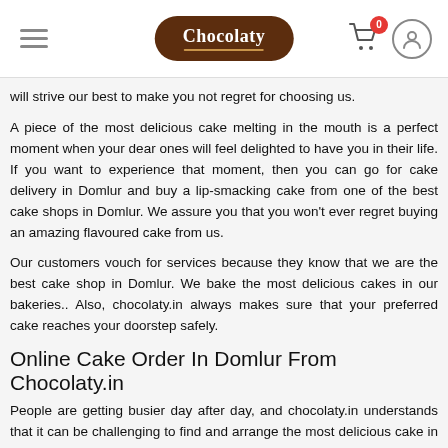Chocolaty — navigation header with hamburger menu, search, logo, cart (0), user icon
will strive our best to make you not regret for choosing us.
A piece of the most delicious cake melting in the mouth is a perfect moment when your dear ones will feel delighted to have you in their life. If you want to experience that moment, then you can go for cake delivery in Domlur and buy a lip-smacking cake from one of the best cake shops in Domlur. We assure you that you won't ever regret buying an amazing flavoured cake from us.
Our customers vouch for services because they know that we are the best cake shop in Domlur. We bake the most delicious cakes in our bakeries.. Also, chocolaty.in always makes sure that your preferred cake reaches your doorstep safely.
Online Cake Order In Domlur From Chocolaty.in
People are getting busier day after day, and chocolaty.in understands that it can be challenging to find and arrange the most delicious cake in a very less amount of time. The market is already flooded with numerous cake services, so it can be very stressful to find a brand you can trust and rely on. But if you ever want to find a cake urgently, then